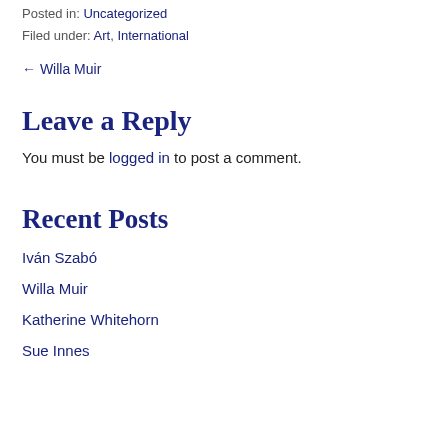Posted in: Uncategorized
Filed under: Art, International
← Willa Muir
Leave a Reply
You must be logged in to post a comment.
Recent Posts
Iván Szabó
Willa Muir
Katherine Whitehorn
Sue Innes